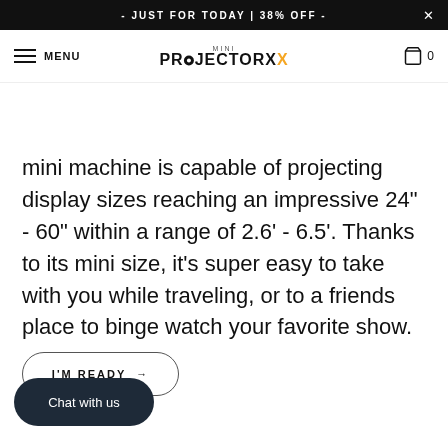- JUST FOR TODAY | 38% OFF -
MINI PROJECTORX  MENU  0
mini machine is capable of projecting display sizes reaching an impressive 24" - 60" within a range of 2.6' - 6.5'. Thanks to its mini size, it's super easy to take with you while traveling, or to a friends place to binge watch your favorite show.
I'M READY →
Chat with us